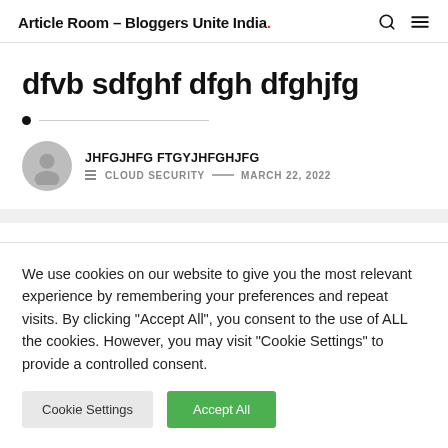Article Room – Bloggers Unite India.
dfvb sdfghf dfgh dfghjfg
JHFGJHFG FTGYJHFGHJFG  CLOUD SECURITY  MARCH 22, 2022
We use cookies on our website to give you the most relevant experience by remembering your preferences and repeat visits. By clicking "Accept All", you consent to the use of ALL the cookies. However, you may visit "Cookie Settings" to provide a controlled consent.